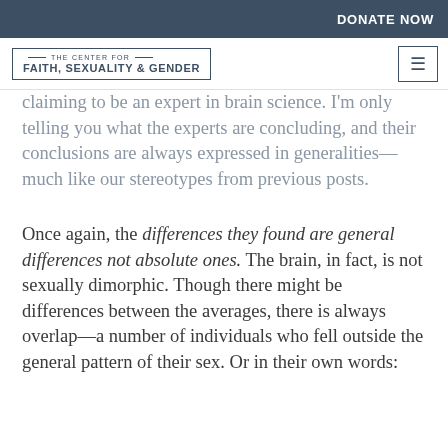DONATE NOW
THE CENTER FOR FAITH, SEXUALITY & GENDER
claiming to be an expert in brain science. I'm only telling you what the experts are concluding, and their conclusions are always expressed in generalities—much like our stereotypes from previous posts.
Once again, the differences they found are general differences not absolute ones. The brain, in fact, is not sexually dimorphic. Though there might be differences between the averages, there is always overlap—a number of individuals who fell outside the general pattern of their sex. Or in their own words: